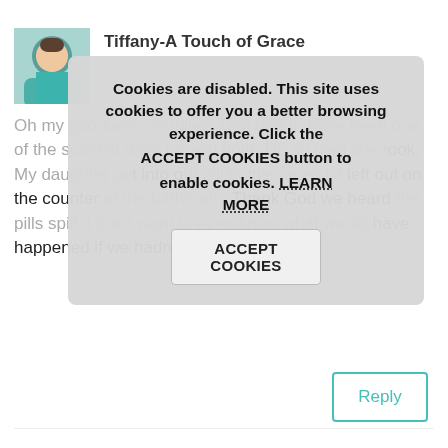[Figure (photo): Profile photo of Tiffany, woman in teal/turquoise top]
Tiffany-A Touch of Grace
Oh my goodness Jennifer! That had to have been one of the scariest days for you both. I'm so glad she took. My daughter got into our pill bottles ones I'd left out on the counter of the bathroom. Thank God we heard the pills spill. I don't want to even know what would have happened if we hadn't. xoxo
Cookies are disabled. This site uses cookies to offer you a better browsing experience. Click the ACCEPT COOKIES button to enable cookies. LEARN MORE
ACCEPT COOKIES
Reply
[Figure (photo): Profile photo of Jennifer, woman with dark hair]
Jennifer | The Deliberate Mom